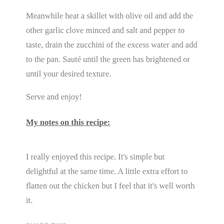Meanwhile heat a skillet with olive oil and add the other garlic clove minced and salt and pepper to taste, drain the zucchini of the excess water and add to the pan. Sauté until the green has brightened or until your desired texture.
Serve and enjoy!
My notes on this recipe:
I really enjoyed this recipe. It's simple but delightful at the same time. A little extra effort to flatten out the chicken but I feel that it's well worth it.
SHARE THIS: